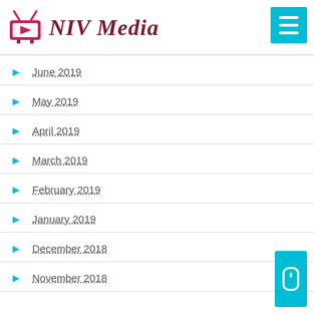[Figure (logo): NIV Media logo with pink TV icon and dark red italic text]
June 2019
May 2019
April 2019
March 2019
February 2019
January 2019
December 2018
November 2018